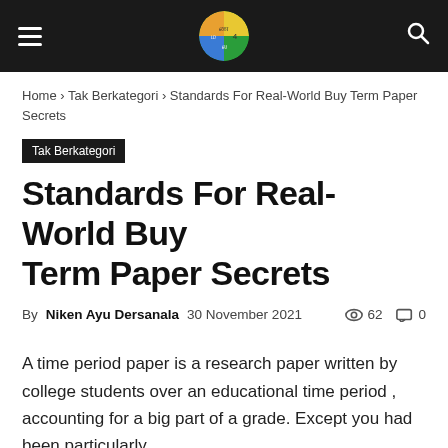Navigation bar with hamburger menu, site logo, and search icon
Home › Tak Berkategori › Standards For Real-World Buy Term Paper Secrets
Tak Berkategori
Standards For Real-World Buy Term Paper Secrets
By Niken Ayu Dersanala  30 November 2021  62  0
A time period paper is a research paper written by college students over an educational time period , accounting for a big part of a grade. Except you had been particularly